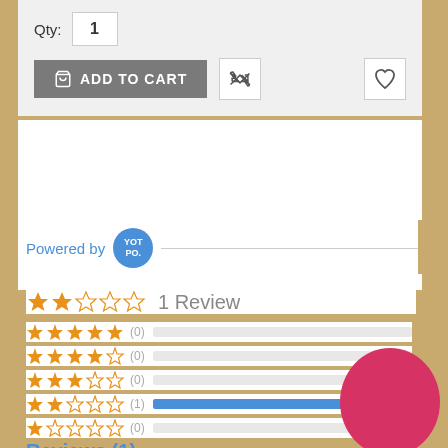Qty: 1
ADD TO CART
Powered by YOTPO.
1 Review
★★☆☆☆  (0)  (0)  (1)  (0)  (0) star rating distribution
Reviews (1)